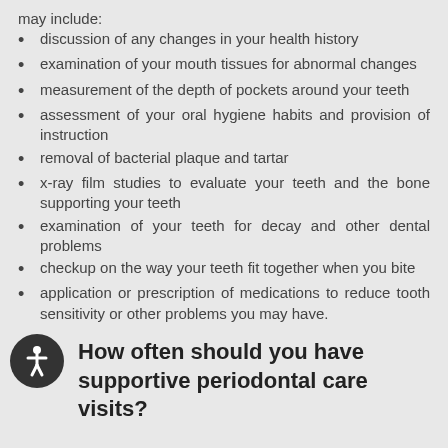may include:
discussion of any changes in your health history
examination of your mouth tissues for abnormal changes
measurement of the depth of pockets around your teeth
assessment of your oral hygiene habits and provision of instruction
removal of bacterial plaque and tartar
x-ray film studies to evaluate your teeth and the bone supporting your teeth
examination of your teeth for decay and other dental problems
checkup on the way your teeth fit together when you bite
application or prescription of medications to reduce tooth sensitivity or other problems you may have.
How often should you have supportive periodontal care visits?